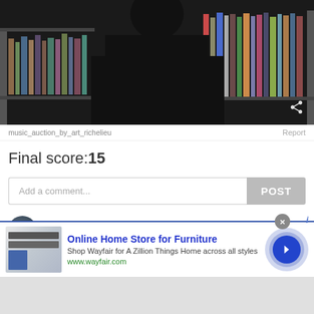[Figure (photo): A person in dark clothing standing in front of bookshelves with vinyl records and books. Dark, moody atmosphere.]
music_auction_by_art_richelieu
Report
Final score:15
Add a comment...
POST
Suzete Santos  3 years ago
[Figure (screenshot): Advertisement for Wayfair - Online Home Store for Furniture. Shows furniture image, ad text 'Shop Wayfair for A Zillion Things Home across all styles', URL www.wayfair.com, and a blue circular arrow button.]